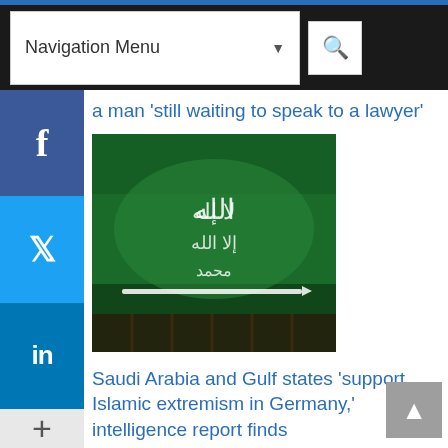Navigation Menu
a man 'still waiting to speak to a lawyer'
[Figure (photo): Saudi Arabian flag (green with white Arabic script and sword), photographed close-up with slight blur]
Saudi Arabia and Gulf states 'support Islamic extremism in Germany,' intelligence report finds
Avertissement de modération: Nous vous rappelons que vos commentaires sont soumis à notre charte et qu'il n'est pas permis de tenir de propos violents,